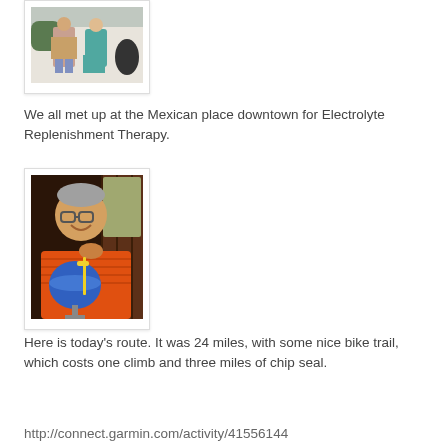[Figure (photo): Two people standing outside a white building, one in a plaid shirt and shorts, one in a teal dress.]
We all met up at the Mexican place downtown for Electrolyte Replenishment Therapy.
[Figure (photo): Man in orange shirt smiling, holding a large blue cocktail drink in a round glass with a straw, sitting at a restaurant.]
Here is today's route. It was 24 miles, with some nice bike trail, which costs one climb and three miles of chip seal.
http://connect.garmin.com/activity/41556144